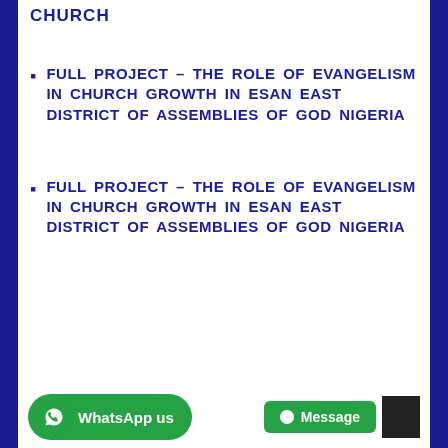CHURCH
FULL PROJECT – THE ROLE OF EVANGELISM IN CHURCH GROWTH IN ESAN EAST DISTRICT OF ASSEMBLIES OF GOD NIGERIA
FULL PROJECT – THE ROLE OF EVANGELISM IN CHURCH GROWTH IN ESAN EAST DISTRICT OF ASSEMBLIES OF GOD NIGERIA